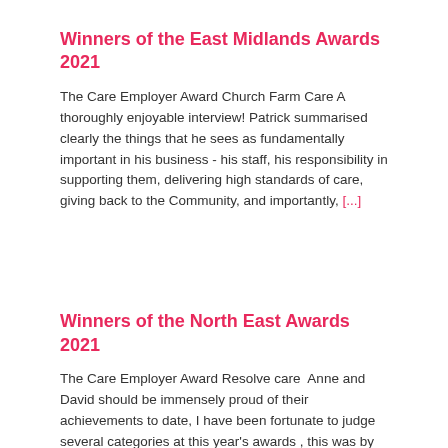Winners of the East Midlands Awards 2021
The Care Employer Award Church Farm Care A thoroughly enjoyable interview! Patrick summarised clearly the things that he sees as fundamentally important in his business - his staff, his responsibility in supporting them, delivering high standards of care, giving back to the Community, and importantly, [...]
Winners of the North East Awards 2021
The Care Employer Award Resolve care  Anne and David should be immensely proud of their achievements to date, I have been fortunate to judge several categories at this year's awards , this was by far the hardest category, with many genuinely brilliant employers shortlisted, however if [...]